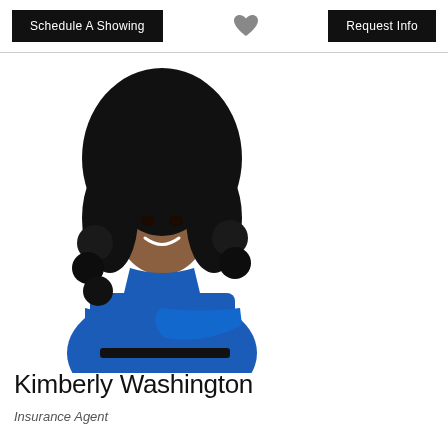Schedule A Showing | [heart icon] | Request Info
[Figure (photo): Professional headshot of Kimberly Washington, a woman in a blue turtleneck top with arms crossed, smiling, with long curly black hair, on white background]
Kimberly Washington
Insurance Agent